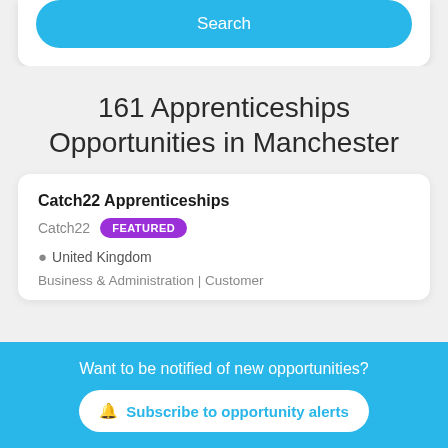[Figure (screenshot): Search button on a white card at the top of the page]
161 Apprenticeships Opportunities in Manchester
Catch22 Apprenticeships
Catch22  FEATURED
United Kingdom
Business & Administration | Customer
Want to be notified of new opportunities?
Subscribe to opportunity alerts